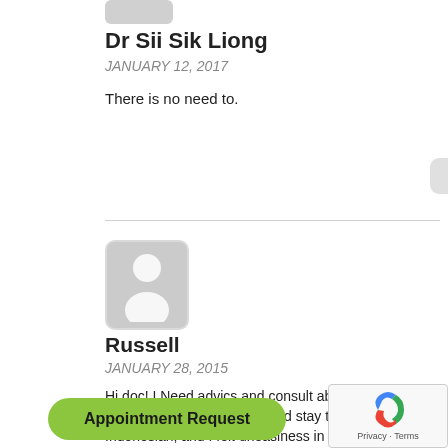[Figure (illustration): Partial avatar/profile image at top, cropped]
Dr Sii Sik Liong
JANUARY 12, 2017
There is no need to.
[Figure (illustration): Default user avatar silhouette for Russell]
Russell
JANUARY 28, 2015
Hi doc! I Need advics and consult about Gerd in Singapore? How long I should stay there?I am Indonesian, and I felt uneasiness in my throat because of this sickness. Please advice. Thanks Gbu
Appointment Request
[Figure (illustration): reCAPTCHA widget with Privacy and Terms links]